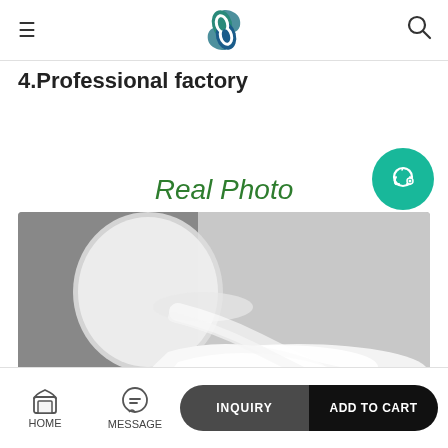Navigation header with logo, menu, and search
4.Professional factory
Real Photo
[Figure (photo): White powder spilling out of a container onto a gray surface]
HOME  MESSAGE  INQUIRY  ADD TO CART